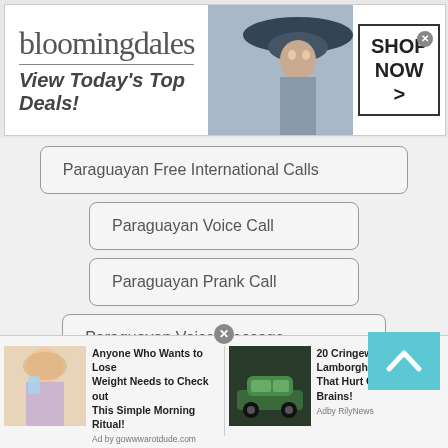[Figure (screenshot): Bloomingdales advertisement banner: logo text 'bloomingdales', tagline 'View Today's Top Deals!', photo of woman in hat, SHOP NOW > button]
Paraguayan Free International Calls
Paraguayan Voice Call
Paraguayan Prank Call
Paraguayan Voice Message
Paraguayan Anonymous Call
Paraguayan Prank Call
Paraguayan Random Numbers to Call
[Figure (screenshot): Bottom advertisement banner with two units: (1) woman drinking water - 'Anyone Who Wants to Lose Weight Needs to Check out This Simple Morning Ritual! Ad by gowwwarotdude.com'; (2) green Lamborghini car - '20 Cringeworthy Lamborghinis That Hurt Our Eyes and Brains! Adby RilyNews']